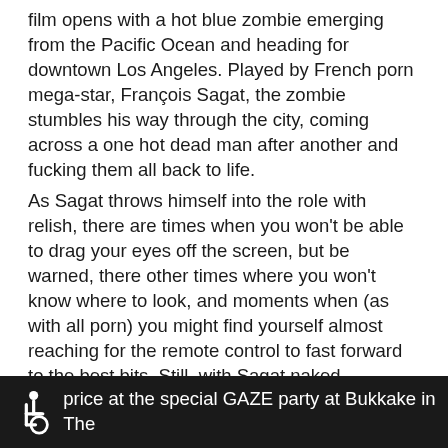film opens with a hot blue zombie emerging from the Pacific Ocean and heading for downtown Los Angeles. Played by French porn mega-star, François Sagat, the zombie stumbles his way through the city, coming across a one hot dead man after another and fucking them all back to life.
As Sagat throws himself into the role with relish, there are times when you won't be able to drag your eyes off the screen, but be warned, there other times where you won't know where to look, and moments when (as with all porn) you might find yourself almost reaching for the remote control to fast forward to the best bits. Still, with Sagat naked practically the whole way through, these moments are medium rare.
This film features sexually explicit imagery, viewer discretion advised.
Keep your ticket stub for this movie only and join us for price at the special GAZE party at Bukkake in The